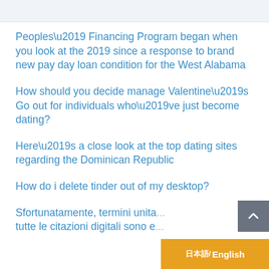Peoples’ Financing Program began when you look at the 2019 since a response to brand new pay day loan condition for the West Alabama
How should you decide manage Valentine’s Go out for individuals who’ve just become dating?
Here’s a close look at the top dating sites regarding the Dominican Republic
How do i delete tinder out of my desktop?
Sfortunatamente, termini unita... tutte le citazioni digitali sono e...